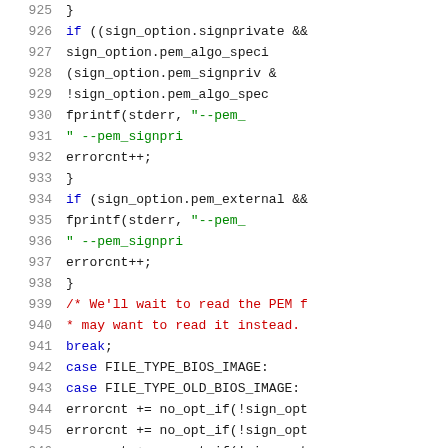[Figure (screenshot): Source code listing showing C code lines 925-946, with syntax highlighting. Line numbers in gray on left, keywords in blue, string literals in orange/green, comments in red, identifiers in black.]